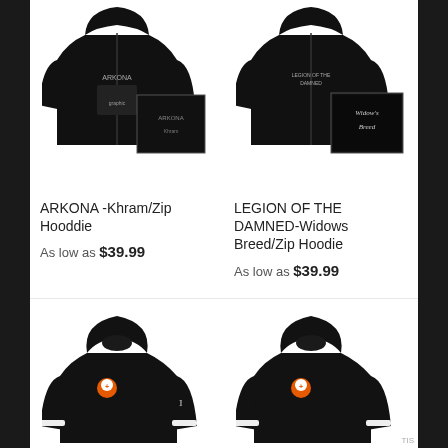[Figure (photo): Black zip hoodie with ARKONA Khram graphic on front, with album art inset]
[Figure (photo): Black zip hoodie with LEGION OF THE DAMNED Widows Breed graphic, with album art inset showing gothic 'Widow's Breed' text]
ARKONA -Khram/Zip Hooddie
As low as $39.99
LEGION OF THE DAMNED-Widows Breed/Zip Hoodie
As low as $39.99
[Figure (photo): Black pullover hoodie with small orange circle logo patch on chest and white text on sleeve]
[Figure (photo): Black pullover hoodie with small orange circle logo patch on chest and white text on sleeve]